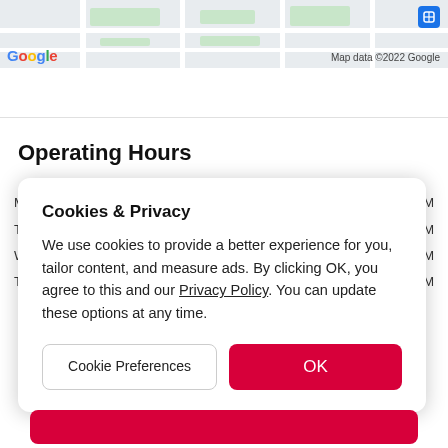[Figure (map): Google Maps partial screenshot showing street map with Google logo and 'Map data ©2022 Google' attribution. A blue transit icon is visible in the top right.]
Operating Hours
[Figure (screenshot): Cookie consent modal dialog with title 'Cookies & Privacy', body text about cookie use, a 'Cookie Preferences' button, and an 'OK' button.]
Cookies & Privacy
We use cookies to provide a better experience for you, tailor content, and measure ads. By clicking OK, you agree to this and our Privacy Policy. You can update these options at any time.
Cookie Preferences
OK